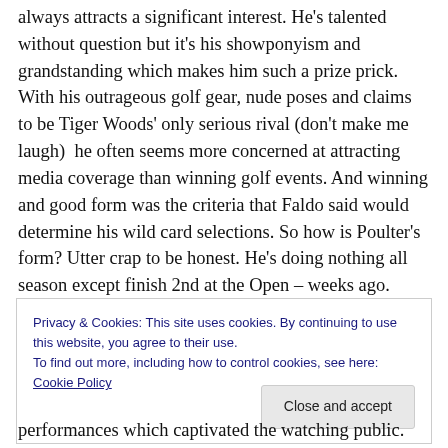always attracts a significant interest. He's talented without question but it's his showponyism and grandstanding which makes him such a prize prick. With his outrageous golf gear, nude poses and claims to be Tiger Woods' only serious rival (don't make me laugh)  he often seems more concerned at attracting media coverage than winning golf events. And winning and good form was the criteria that Faldo said would determine his wild card selections. So how is Poulter's form? Utter crap to be honest. He's doing nothing all season except finish 2nd at the Open – weeks ago. Since then he's hardly made a cut.
Privacy & Cookies: This site uses cookies. By continuing to use this website, you agree to their use.
To find out more, including how to control cookies, see here: Cookie Policy
performances which captivated the watching public.